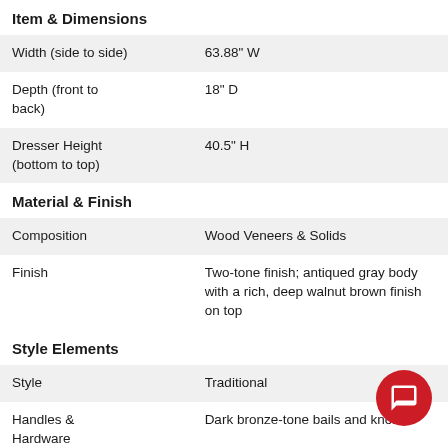Item & Dimensions
| Width (side to side) | 63.88" W |
| Depth (front to back) | 18" D |
| Dresser Height (bottom to top) | 40.5" H |
Material & Finish
| Composition | Wood Veneers & Solids |
| Finish | Two-tone finish; antiqued gray body with a rich, deep walnut brown finish on top |
Style Elements
| Style | Traditional |
| Handles & Hardware | Dark bronze-tone bails and knobs |
Storage & Features
| Drawers | 7 |